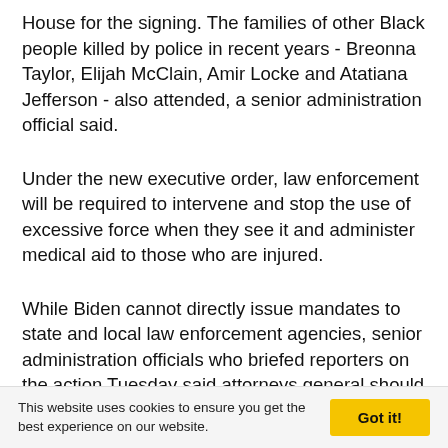House for the signing. The families of other Black people killed by police in recent years - Breonna Taylor, Elijah McClain, Amir Locke and Atatiana Jefferson - also attended, a senior administration official said.
Under the new executive order, law enforcement will be required to intervene and stop the use of excessive force when they see it and administer medical aid to those who are injured.
While Biden cannot directly issue mandates to state and local law enforcement agencies, senior administration officials who briefed reporters on the action Tuesday said attorneys general should use their power to award grants that promote and support agencies in getting accredited or
This website uses cookies to ensure you get the best experience on our website.